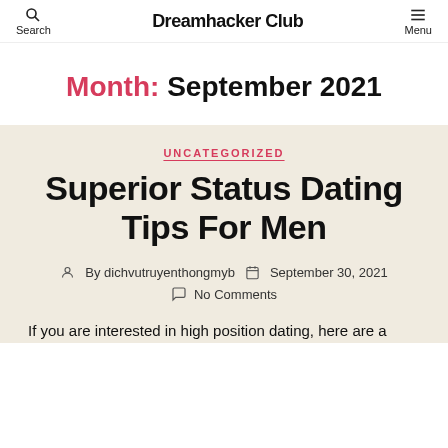Search  Dreamhacker Club  Menu
Month: September 2021
UNCATEGORIZED
Superior Status Dating Tips For Men
By dichvutruyenthongmyb  September 30, 2021  No Comments
If you are interested in high position dating, here are a